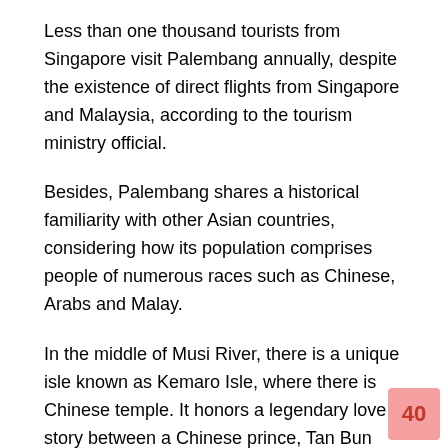Less than one thousand tourists from Singapore visit Palembang annually, despite the existence of direct flights from Singapore and Malaysia, according to the tourism ministry official.
Besides, Palembang shares a historical familiarity with other Asian countries, considering how its population comprises people of numerous races such as Chinese, Arabs and Malay.
In the middle of Musi River, there is a unique isle known as Kemaro Isle, where there is Chinese temple. It honors a legendary love story between a Chinese prince, Tan Bun Ann, and a princess of Palembang, Siti Fatimah.
Moreover, Shehdek suggested that the Palembang administration intensify tourism promotional activities by establishing a board for this purpose.